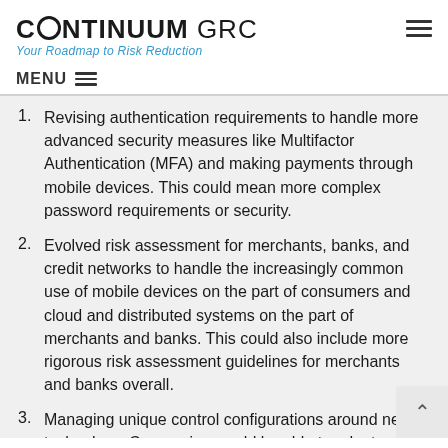CONTINUUM GRC — Your Roadmap to Risk Reduction
MENU
Revising authentication requirements to handle more advanced security measures like Multifactor Authentication (MFA) and making payments through mobile devices. This could mean more complex password requirements or security.
Evolved risk assessment for merchants, banks, and credit networks to handle the increasingly common use of mobile devices on the part of consumers and cloud and distributed systems on the part of merchants and banks. This could also include more rigorous risk assessment guidelines for merchants and banks overall.
Managing unique control configurations around new technology. Companies would be able to adopt custom control systems to maintain flexibility in the face of new